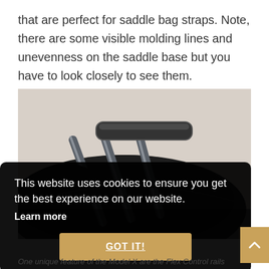that are perfect for saddle bag straps. Note, there are some visible molding lines and unevenness on the saddle base but you have to look closely to see them.
[Figure (photo): Close-up photo of a black bicycle saddle showing the underside rails (Flex Control rails), with silver/chrome metal rails visible and the black plastic base.]
This website uses cookies to ensure you get the best experience on our website. Learn more
GOT IT!
One unique feature of the Model X are the Flex Control rails